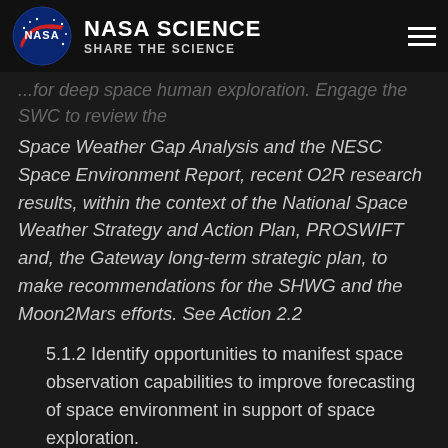NASA SCIENCE / SHARE THE SCIENCE
...for deep space human exploration. Engage the SWC to review the Space Weather Gap Analysis and the NESC Space Environment Report, recent O2R research results, within the context of the National Space Weather Strategy and Action Plan, PROSWIFT and, the Gateway long-term strategic plan, to make recommendations for the SHWG and the Moon2Mars efforts. See Action 2.2
5.1.2 Identify opportunities to manifest space observation capabilities to improve forecasting of space environment in support of space exploration.
ACTION: Identify future space weather payloads